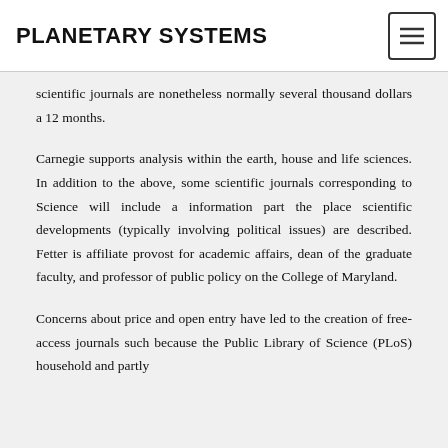PLANETARY SYSTEMS
scientific journals are nonetheless normally several thousand dollars a 12 months.
Carnegie supports analysis within the earth, house and life sciences. In addition to the above, some scientific journals corresponding to Science will include a information part the place scientific developments (typically involving political issues) are described. Fetter is affiliate provost for academic affairs, dean of the graduate faculty, and professor of public policy on the College of Maryland.
Concerns about price and open entry have led to the creation of free-access journals such because the Public Library of Science (PLoS) household and partly